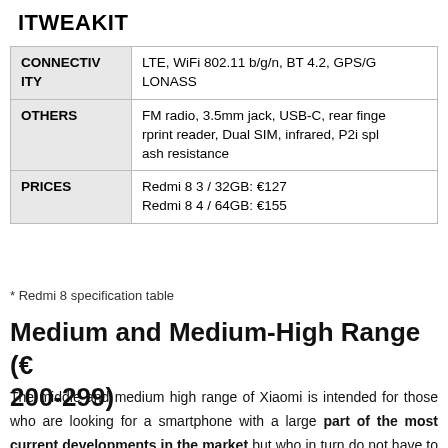ITWEAKIT
| CONNECTIVITY | LTE, WiFi 802.11 b/g/n, BT 4.2, GPS/GLONASS |
| OTHERS | FM radio, 3.5mm jack, USB-C, rear fingerprint reader, Dual SIM, infrared, P2i splash resistance |
| PRICES | Redmi 8 3 / 32GB: €127
Redmi 8 4 / 64GB: €155 |
* Redmi 8 specification table
Medium and Medium-High Range (€200-299)
The middle and medium high range of Xiaomi is intended for those who are looking for a smartphone with a large part of the most current developments in the market but who in turn do not have to disburse